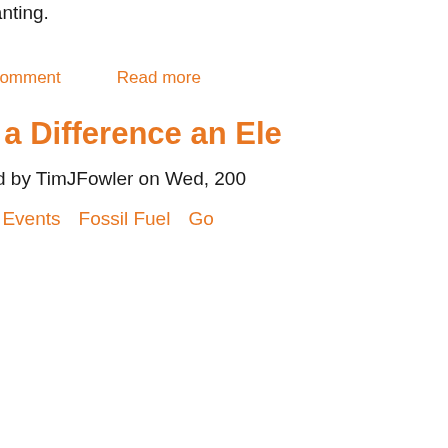spring planting.
Add new comment    Read more
What a Difference an Ele...
Submitted by TimJFowler on Wed, 200...
in  CO2    Events    Fossil Fuel    Go...